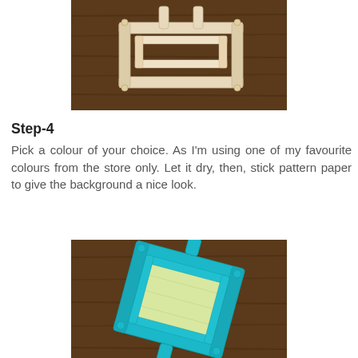[Figure (photo): Photo of a popsicle stick frame construction on a wooden surface, unpainted, showing the structural frame with sticks arranged in a square pattern with supports.]
Step-4
Pick a colour of your choice. As I'm using one of my favourite colours from the store only. Let it dry, then, stick pattern paper to give the background a nice look.
[Figure (photo): Photo of a popsicle stick frame painted in turquoise/teal colour on a wooden surface, with a light yellow-green patterned paper inserted as the background, frame tilted at an angle.]